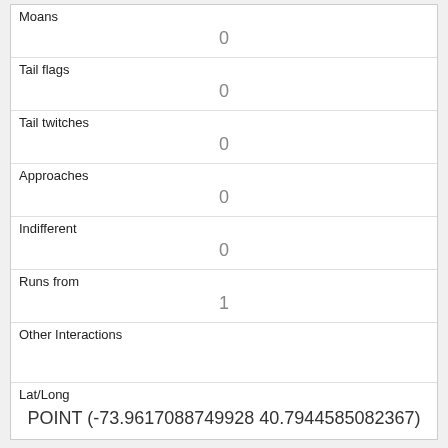| Moans | 0 |
| Tail flags | 0 |
| Tail twitches | 0 |
| Approaches | 0 |
| Indifferent | 0 |
| Runs from | 1 |
| Other Interactions |  |
| Lat/Long | POINT (-73.9617088749928 40.7944585082367) |
| Link | 84 |
| rowid | 84 |